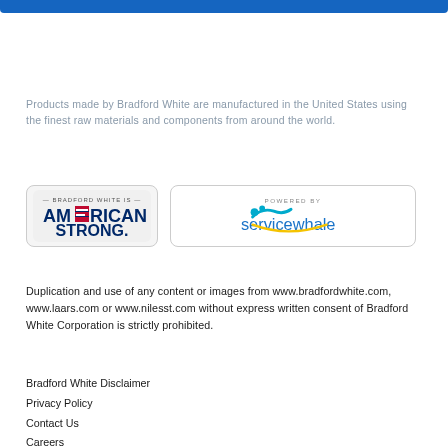Products made by Bradford White are manufactured in the United States using the finest raw materials and components from around the world.
[Figure (logo): Bradford White Is American Strong badge logo with American flag motif]
[Figure (logo): Powered by servicewhale logo with teal wave graphic]
Duplication and use of any content or images from www.bradfordwhite.com, www.laars.com or www.nilesst.com without express written consent of Bradford White Corporation is strictly prohibited.
Bradford White Disclaimer
Privacy Policy
Contact Us
Careers